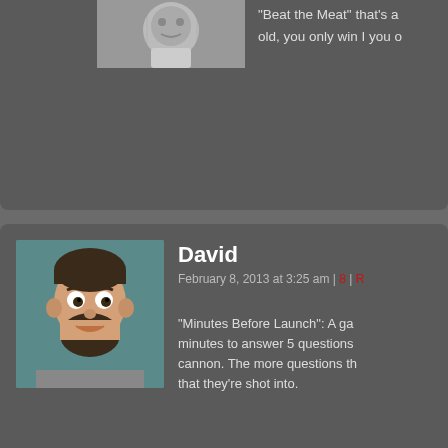"Beat the Meat" that's a old, you only win I you o
David
February 8, 2013 at 3:25 am
"Minutes Before Launch": A ga minutes to answer 5 questions cannon. The more questions th that they're shot into.
nekoJadey
October 1, 2013 at 5:48 ar
Can this be a real thing
Aita
February 8, 2013 at 7:03 am
Isn't that losing?